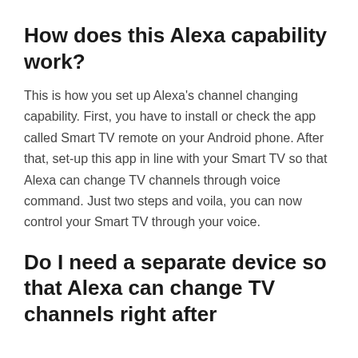How does this Alexa capability work?
This is how you set up Alexa’s channel changing capability. First, you have to install or check the app called Smart TV remote on your Android phone. After that, set-up this app in line with your Smart TV so that Alexa can change TV channels through voice command. Just two steps and voila, you can now control your Smart TV through your voice.
Do I need a separate device so that Alexa can change TV channels right after